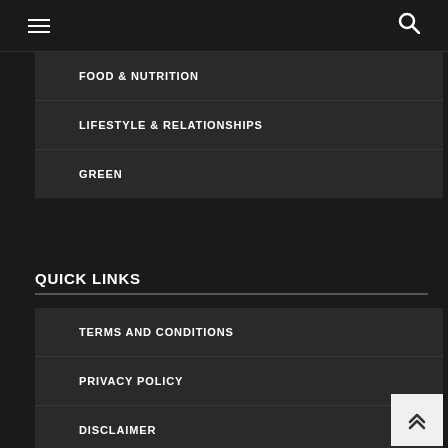Navigation header with hamburger menu and search icon
FOOD & NUTRITION
LIFESTYLE & RELATIONSHIPS
GREEN
QUICK LINKS
TERMS AND CONDITIONS
PRIVACY POLICY
DISCLAIMER